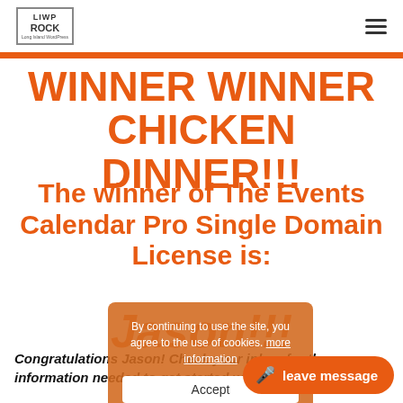LIWPROCK logo and hamburger menu
WINNER WINNER CHICKEN DINNER!!!
The winner of The Events Calendar Pro Single Domain License is:
Jason!!!
Congratulations Jason! Check your inbox for the information needed to get started with this fantastic plugin!!
By continuing to use the site, you agree to the use of cookies. more information
Accept